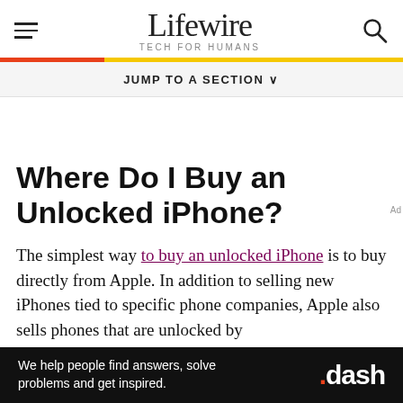Lifewire TECH FOR HUMANS
JUMP TO A SECTION
Where Do I Buy an Unlocked iPhone?
The simplest way to buy an unlocked iPhone is to buy directly from Apple. In addition to selling new iPhones tied to specific phone companies, Apple also sells phones that are unlocked by
[Figure (other): Bottom advertisement banner for .dash with text: We help people find answers, solve problems and get inspired.]